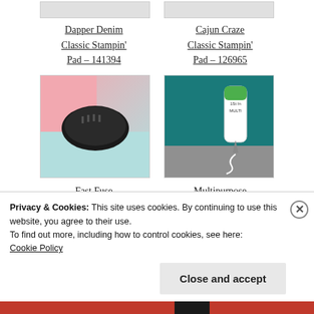[Figure (photo): Partial top edge of two product images (cropped at top of page)]
Dapper Denim Classic Stampin' Pad – 141394
Cajun Craze Classic Stampin' Pad – 126965
[Figure (photo): Fast Fuse adhesive tool on pink and teal background]
[Figure (photo): Multipurpose Liquid Glue tube on teal and grey background]
Fast Fuse Adhesive – 129026
Multipurpose Liquid Glue –
Privacy & Cookies: This site uses cookies. By continuing to use this website, you agree to their use.
To find out more, including how to control cookies, see here: Cookie Policy
Close and accept